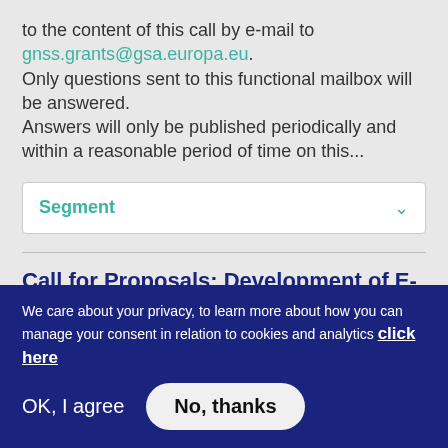to the content of this call by e-mail to gnss.grants@gsa.europa.eu. Only questions sent to this functional mailbox will be answered. Answers will only be published periodically and within a reasonable period of time on this...
Segment
Call for Proposals: Development of E-GNSS engine for liability- and payment - critical multi-applications in road
We care about your privacy, to learn more about how you can manage your consent in relation to cookies and analytics click here
OK, I agree   No, thanks